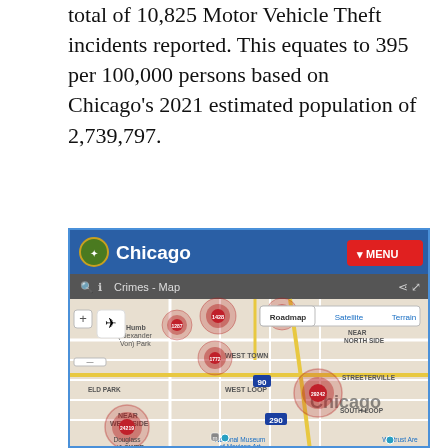total of 10,825 Motor Vehicle Theft incidents reported. This equates to 395 per 100,000 persons based on Chicago's 2021 estimated population of 2,739,797.
[Figure (map): Chicago city government website map showing crime clusters (Motor Vehicle Theft) plotted on a Google Maps-style roadmap of Chicago. Clusters include numbered markers: 1428, 1287, 1303, 1772, 29242, 24219. Map shows neighborhoods: Humboldt (Alexander Von) Park, West Town, West Loop, ELD Park, Near West Side, Near North Side, Streeterville, South Loop, Lower (cropped). Includes Roadmap/Satellite/Terrain toggle, zoom controls, and Chicago branding with red MENU button.]